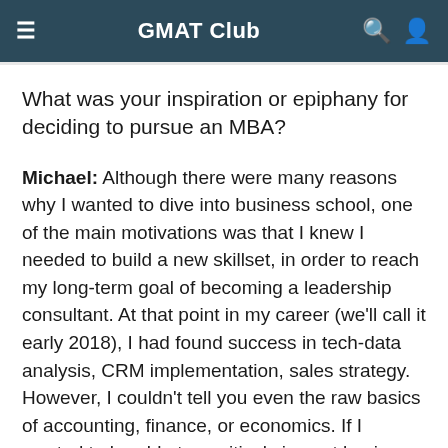GMAT Club
What was your inspiration or epiphany for deciding to pursue an MBA?
Michael: Although there were many reasons why I wanted to dive into business school, one of the main motivations was that I knew I needed to build a new skillset, in order to reach my long-term goal of becoming a leadership consultant. At that point in my career (we'll call it early 2018), I had found success in tech-data analysis, CRM implementation, sales strategy. However, I couldn't tell you even the raw basics of accounting, finance, or economics. If I wanted to be able to positively impact business leaders around the world, I needed to first be able to speak